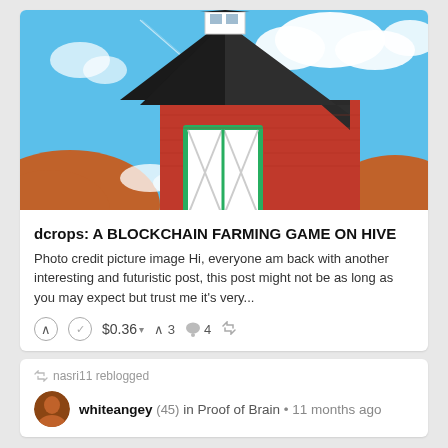[Figure (illustration): Cartoon illustration of a red barn with black roof against a blue sky with white clouds. Orange hills visible on the sides. Green-trimmed white barn doors visible at center.]
dcrops: A BLOCKCHAIN FARMING GAME ON HIVE
Photo credit picture image Hi, everyone am back with another interesting and futuristic post, this post might not be as long as you may expect but trust me it's very...
$0.36  3  4
nasri11 reblogged
whiteangey (45) in Proof of Brain • 11 months ago